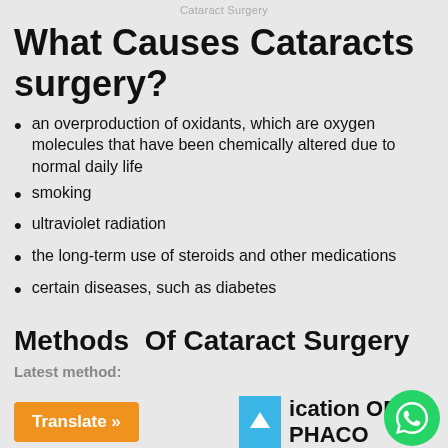Cataract Surgery
What Causes Cataracts surgery?
an overproduction of oxidants, which are oxygen molecules that have been chemically altered due to normal daily life
smoking
ultraviolet radiation
the long-term use of steroids and other medications
certain diseases, such as diabetes
Methods  Of Cataract Surgery
Latest method:
ication OR PHACO